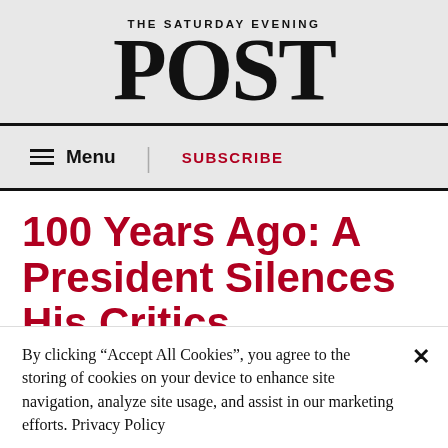THE SATURDAY EVENING POST
☰ Menu | SUBSCRIBE
100 Years Ago: A President Silences His Critics
Earlier this month, President Trump, angered over critical coverage, he...
By clicking “Accept All Cookies”, you agree to the storing of cookies on your device to enhance site navigation, analyze site usage, and assist in our marketing efforts. Privacy Policy